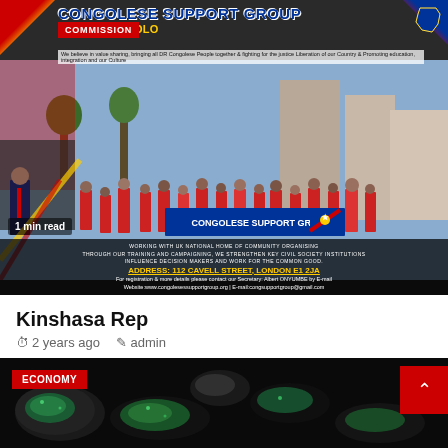[Figure (photo): Congolese Support Group protest/march photo composite with logo, commission badge, DRC flag colors, crowd of people in red shirts holding banners, address and contact details overlay]
Kinshasa Rep
2 years ago  admin
[Figure (photo): Close-up photo of green and dark minerals/rocks on black background with ECONOMY badge overlay and red scroll-to-top button]